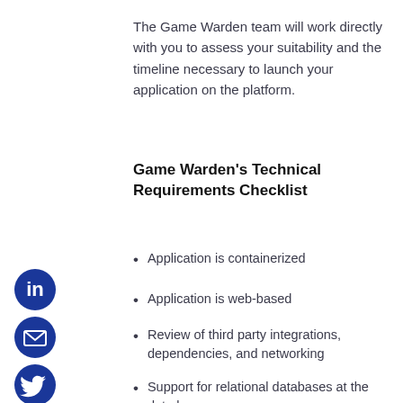The Game Warden team will work directly with you to assess your suitability and the timeline necessary to launch your application on the platform.
Game Warden's Technical Requirements Checklist
Application is containerized
Application is web-based
Review of third party integrations, dependencies, and networking
Support for relational databases at the data layer
Basic, industry-standard security best practices (encryption, etc.)
[Figure (illustration): LinkedIn social media icon - blue circle with white 'in' logo]
[Figure (illustration): Email/envelope social media icon - blue circle with white envelope logo]
[Figure (illustration): Twitter social media icon - blue circle with white bird logo]
[Figure (illustration): Facebook social media icon - blue circle with white 'f' logo]